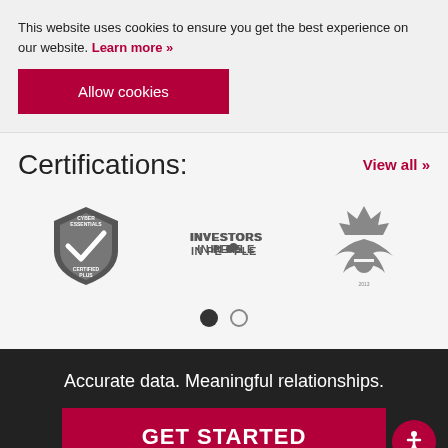This website uses cookies to ensure you get the best experience on our website. Learn more »
Allow cookies
Certifications:
View all »
[Figure (logo): Cyber Essentials Certified Plus logo - shield badge in greyscale]
[Figure (logo): Investors in People logo in greyscale]
[Figure (logo): Queen's Award for Enterprise logo - royal emblem in greyscale]
Accurate data. Meaningful relationships.
GET STARTED